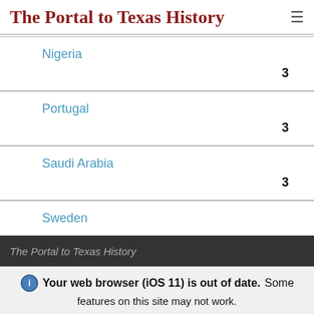The Portal to Texas History
Nigeria
3
Portugal
3
Saudi Arabia
3
Sweden
The Portal to Texas History
Your web browser (iOS 11) is out of date. Some features on this site may not work.